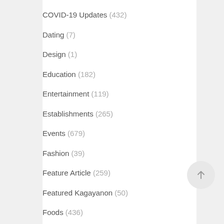COVID-19 Updates (432)
Dating (7)
Design (1)
Education (182)
Entertainment (119)
Establishments (265)
Events (679)
Fashion (39)
Feature Article (259)
Featured Kagayanon (50)
Foods (436)